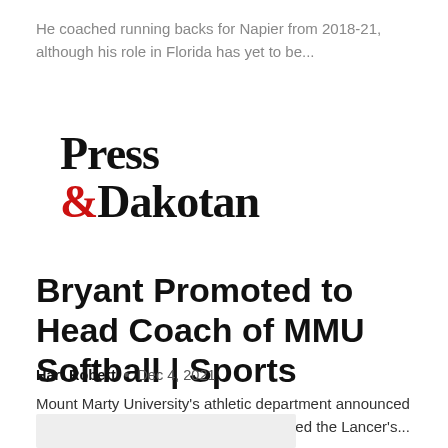He coached running backs for Napier from 2018-21, although his role in Florida has yet to be...
[Figure (logo): Press & Dakotan newspaper logo in black serif font with red ampersand]
Bryant Promoted to Head Coach of MMU Softball | Sports
Hart Robert • Dec 4, 2021
Mount Marty University's athletic department announced Friday that Kayla Bryant has been named the Lancer's...